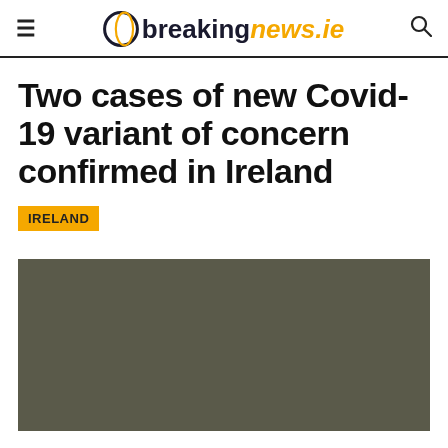breakingnews.ie
Two cases of new Covid-19 variant of concern confirmed in Ireland
IRELAND
[Figure (photo): Dark grey/olive colored image placeholder at the bottom of the page]